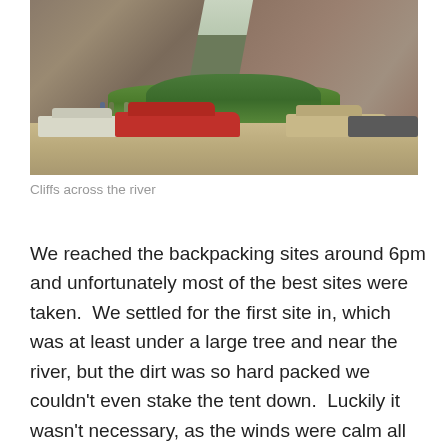[Figure (photo): Outdoor scene showing large rocky cliffs in the background with green trees and shrubs below. Several vehicles are parked in the foreground including a red SUV/van on the left, a white vehicle on the far left, a tan SUV in the middle-right, and a dark truck on the right. A few people are visible near the vehicles. The setting appears to be a river area at the base of cliffs.]
Cliffs across the river
We reached the backpacking sites around 6pm and unfortunately most of the best sites were taken.  We settled for the first site in, which was at least under a large tree and near the river, but the dirt was so hard packed we couldn't even stake the tent down.  Luckily it wasn't necessary, as the winds were calm all night.  We set up camp and then made dinner: our first experience with Mountain House freeze dried meals and I have to say, I was kinda impressed.  I had Chili Mac and Beef and Court